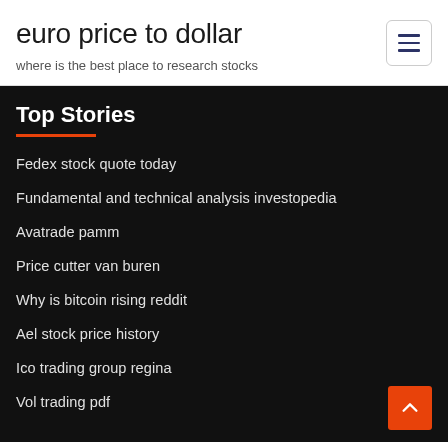euro price to dollar
where is the best place to research stocks
Top Stories
Fedex stock quote today
Fundamental and technical analysis investopedia
Avatrade pamm
Price cutter van buren
Why is bitcoin rising reddit
Ael stock price history
Ico trading group regina
Vol trading pdf